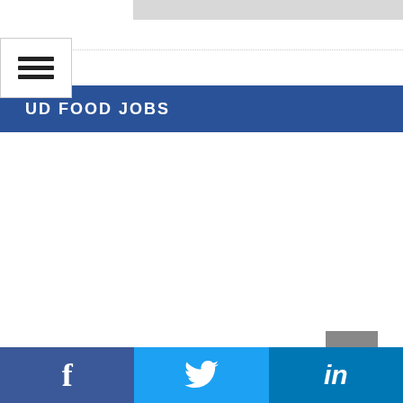[Figure (screenshot): Gray banner at top of page]
[Figure (screenshot): Hamburger menu icon (three horizontal lines) in a white box]
UD FOOD JOBS
[Figure (screenshot): Scroll to top button with upward arrow, gray background]
Facebook | Twitter | LinkedIn social share footer bar